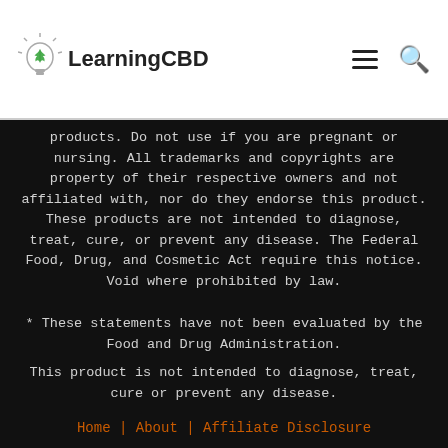LearningCBD
products. Do not use if you are pregnant or nursing. All trademarks and copyrights are property of their respective owners and not affiliated with, nor do they endorse this product. These products are not intended to diagnose, treat, cure, or prevent any disease. The Federal Food, Drug, and Cosmetic Act require this notice. Void where prohibited by law.
* These statements have not been evaluated by the Food and Drug Administration. This product is not intended to diagnose, treat, cure or prevent any disease.
Home | About | Affiliate Disclosure